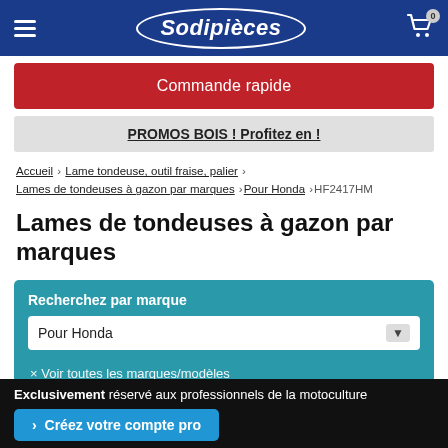Sodipièces
Commande rapide
PROMOS BOIS ! Profitez en !
Accueil › Lame tondeuse, outil fraise, palier › Lames de tondeuses à gazon par marques › Pour Honda › HF2417HM
Lames de tondeuses à gazon par marques
Recherchez par marque
Pour Honda
× Voir toutes les marques/modèles
Exclusivement réservé aux professionnels de la motoculture
> Créez votre compte pro